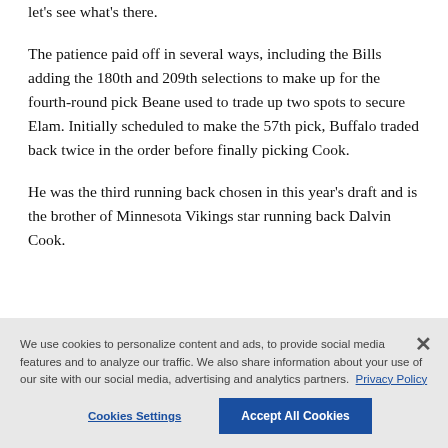let's see what's there.
The patience paid off in several ways, including the Bills adding the 180th and 209th selections to make up for the fourth-round pick Beane used to trade up two spots to secure Elam. Initially scheduled to make the 57th pick, Buffalo traded back twice in the order before finally picking Cook.
He was the third running back chosen in this year's draft and is the brother of Minnesota Vikings star running back Dalvin Cook.
We use cookies to personalize content and ads, to provide social media features and to analyze our traffic. We also share information about your use of our site with our social media, advertising and analytics partners. Privacy Policy